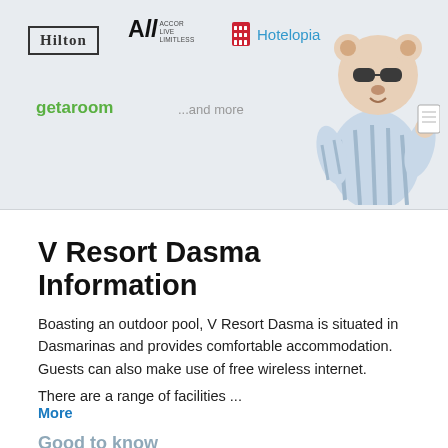[Figure (illustration): Hotel booking partner logos banner with Hilton, Accor Live Limitless, Hotelopia, getaroom, ...and more text, and a cartoon mascot character on the right]
V Resort Dasma Information
Boasting an outdoor pool, V Resort Dasma is situated in Dasmarinas and provides comfortable accommodation. Guests can also make use of free wireless internet.
There are a range of facilities ...
More
Good to know
| To City Centre | Rating |
| --- | --- |
| 4.1 km | 6.2 |